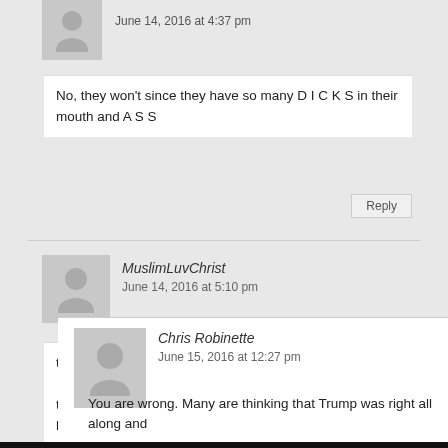June 14, 2016 at 4:37 pm
No, they won't since they have so many D I C K S in their mouth and A S S
MuslimLuvChrist
June 14, 2016 at 5:10 pm
they don't care that muslims throw gays off rooftops,

they just consider this a "hate" crime and they want hitlery to take your guns,

and they think Trump is a homophobe
Chris Robinette
June 15, 2016 at 12:27 pm
You are wrong. Many are thinking that Trump was right all along and